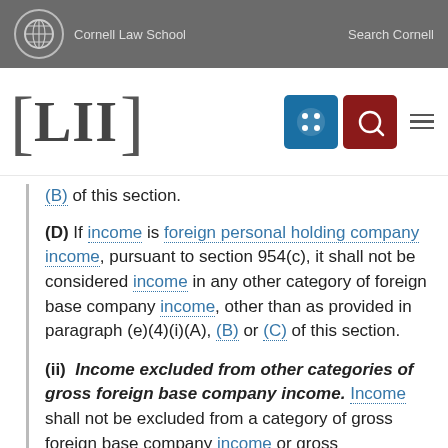Cornell Law School | Search Cornell | LII
(B) of this section.
(D) If income is foreign personal holding company income, pursuant to section 954(c), it shall not be considered income in any other category of foreign base company income, other than as provided in paragraph (e)(4)(i)(A), (B) or (C) of this section.
(ii) Income excluded from other categories of gross foreign base company income. Income shall not be excluded from a category of gross foreign base company income or gross...